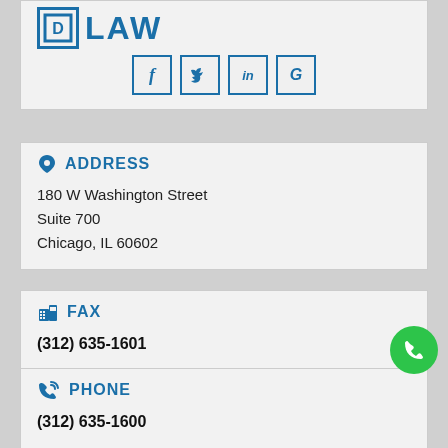[Figure (logo): Law firm logo with LAW text and social media icons (Facebook, Twitter, LinkedIn, Google+)]
ADDRESS
180 W Washington Street
Suite 700
Chicago, IL 60602
FAX
(312) 635-1601
PHONE
(312) 635-1600